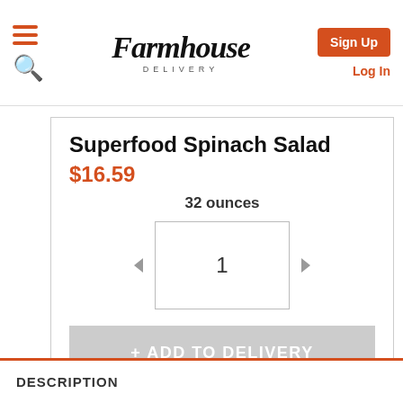Farmhouse Delivery | Sign Up | Log In
Superfood Spinach Salad
$16.59
32 ounces
1
+ ADD TO DELIVERY
DESCRIPTION